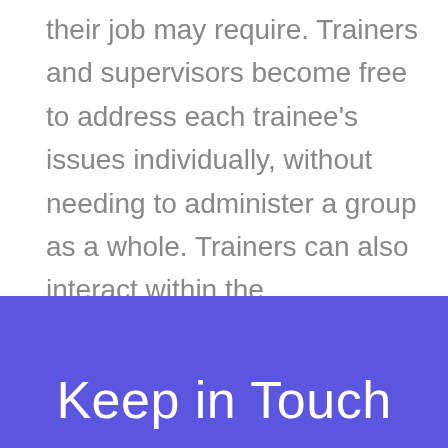their job may require. Trainers and supervisors become free to address each trainee's issues individually, without needing to administer a group as a whole. Trainers can also interact within the simulations, from assisting to introducing unexpected elements.
Keep in Touch